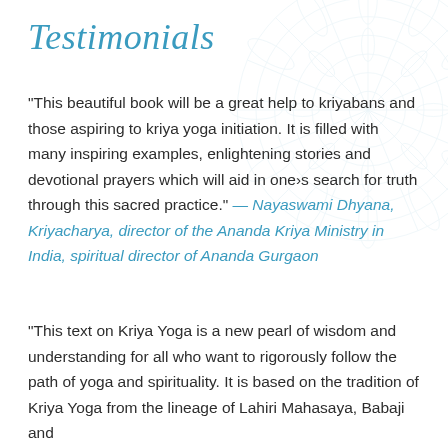Testimonials
“This beautiful book will be a great help to kriyabans and those aspiring to kriya yoga initiation. It is filled with many inspiring examples, enlightening stories and devotional prayers which will aid in one›s search for truth through this sacred practice.” — Nayaswami Dhyana, Kriyacharya, director of the Ananda Kriya Ministry in India, spiritual director of Ananda Gurgaon
“This text on Kriya Yoga is a new pearl of wisdom and understanding for all who want to rigorously follow the path of yoga and spirituality. It is based on the tradition of Kriya Yoga from the lineage of Lahiri Mahasaya, Babaji and